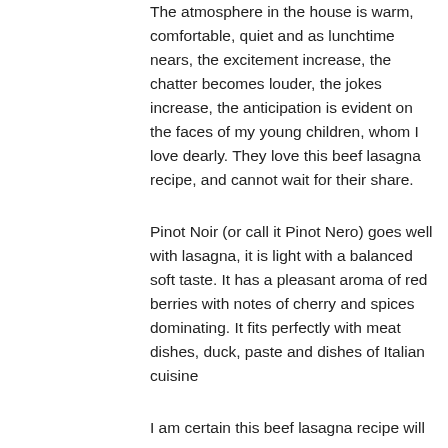The atmosphere in the house is warm, comfortable, quiet and as lunchtime nears, the excitement increase, the chatter becomes louder, the jokes increase, the anticipation is evident on the faces of my young children, whom I love dearly. They love this beef lasagna recipe, and cannot wait for their share.
Pinot Noir (or call it Pinot Nero) goes well with lasagna, it is light with a balanced soft taste. It has a pleasant aroma of red berries with notes of cherry and spices dominating. It fits perfectly with meat dishes, duck, paste and dishes of Italian cuisine
I am certain this beef lasagna recipe will